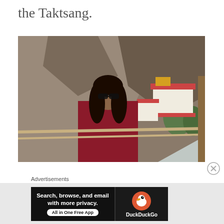the Taktsang.
[Figure (photo): A woman in a maroon Bhutan sweatshirt and sunglasses standing in front of a railing with the Tiger's Nest monastery (Taktsang) visible on a cliff in the background.]
Advertisements
[Figure (screenshot): DuckDuckGo advertisement banner reading 'Search, browse, and email with more privacy. All in One Free App' with the DuckDuckGo duck logo on the right side.]